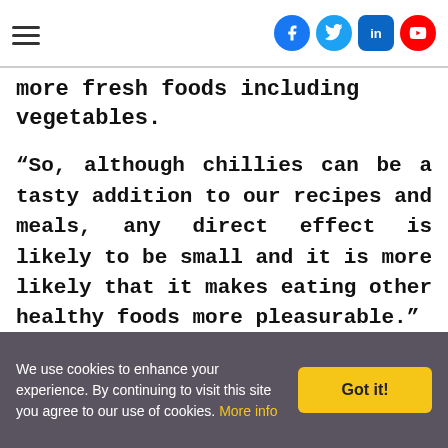[hamburger menu icon] [Facebook] [Twitter] [LinkedIn] [YouTube]
more fresh foods including vegetables.
“So, although chillies can be a tasty addition to our recipes and meals, any direct effect is likely to be small and it is more likely that it makes eating other healthy foods more pleasurable.”
We use cookies to enhance your experience. By continuing to visit this site you agree to our use of cookies. More info [Got it!]